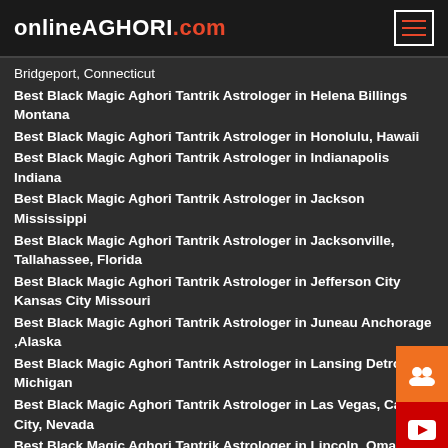onlineAGHORI.com
Bridgeport, Connecticut
Best Black Magic Aghori Tantrik Astrologer in Helena Billings Montana
Best Black Magic Aghori Tantrik Astrologer in Honolulu, Hawaii
Best Black Magic Aghori Tantrik Astrologer in Indianapolis Indiana
Best Black Magic Aghori Tantrik Astrologer in Jackson Mississippi
Best Black Magic Aghori Tantrik Astrologer in Jacksonville, Tallahassee, Florida
Best Black Magic Aghori Tantrik Astrologer in Jefferson City Kansas City Missouri
Best Black Magic Aghori Tantrik Astrologer in Juneau Anchorage ,Alaska
Best Black Magic Aghori Tantrik Astrologer in Lansing Detroit Michigan
Best Black Magic Aghori Tantrik Astrologer in Las Vegas, Carson City, Nevada
Best Black Magic Aghori Tantrik Astrologer in Lincoln, Omaha